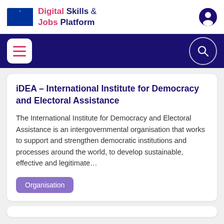Digital Skills & Jobs Platform
iDEA – International Institute for Democracy and Electoral Assistance
The International Institute for Democracy and Electoral Assistance is an intergovernmental organisation that works to support and strengthen democratic institutions and processes around the world, to develop sustainable, effective and legitimate...
Organisation